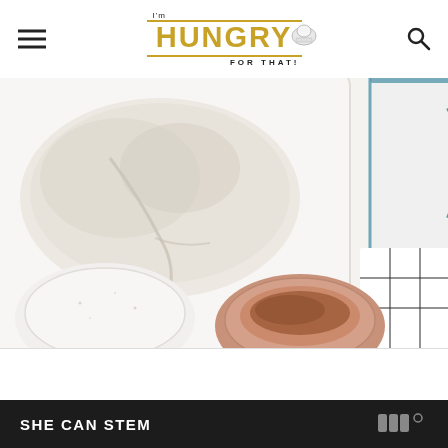I'm HUNGRY FOR THAT!
[Figure (photo): Top-down view of baking ingredients on a white marble surface: a large white baking dish with flour, a small white speckled bowl, a pink bowl with spice (cinnamon), a glass measuring pitcher with blue rim, and a black-and-white checkered cloth.]
SHE CAN STEM